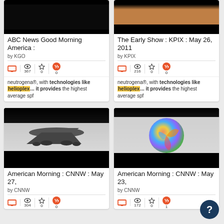[Figure (screenshot): TV show thumbnail - dark/black image for ABC News Good Morning America]
ABC News Good Morning America :
by KGO
367 views, 0 favorites, 0 quotes
neutrogena®, with technologies like helioplex... it provides the highest average spf
[Figure (screenshot): TV show thumbnail - feet/people walking for The Early Show KPIX]
The Early Show : KPIX : May 26, 2011
by KPIX
216 views, 0 favorites, 0 quotes
neutrogena®, with technologies like helioplex... it provides the highest average spf
[Figure (screenshot): TV show thumbnail - airplane image for American Morning CNNW May 27]
American Morning : CNNW : May 27,
by CNNW
304 views, 0 favorites, 0 quotes
[Figure (screenshot): TV show thumbnail - colorful globe/spinner for American Morning CNNW May 23]
American Morning : CNNW : May 23,
by CNNW
172 views, 0 favorites, 1 quote